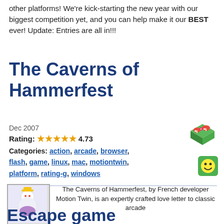other platforms! We're kick-starting the new year with our biggest competition yet, and you can help make it our BEST ever! Update: Entries are all in!!!
The Caverns of Hammerfest
Dec 2007
Rating: 4.73
Categories: action, arcade, browser, flash, game, linux, mac, motiontwin, platform, rating-g, windows
[Figure (illustration): Isometric green game tile with mushrooms icon]
[Figure (illustration): Green smiley face icon on green background]
The Caverns of Hammerfest, by French developer Motion Twin, is an expertly crafted love letter to classic arcade platformers like Bubble Bobble and Snow Bros. If you've ever wondered how the intensity and the heartbreak of those old arcade cabinets could be translated into online gaming, look no further.
Escape game